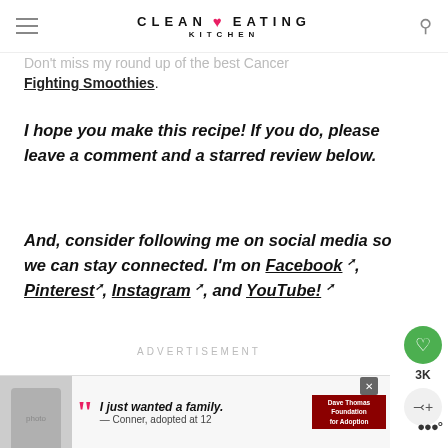CLEAN EATING KITCHEN
Don't miss my round up of the best Cancer Fighting Smoothies.
I hope you make this recipe! If you do, please leave a comment and a starred review below.
And, consider following me on social media so we can stay connected. I'm on Facebook, Pinterest, Instagram, and YouTube!
ADVERTISEMENT
[Figure (screenshot): Advertisement banner: Dave Thomas Foundation for Adoption with quote 'I just wanted a family. — Conner, adopted at 12']